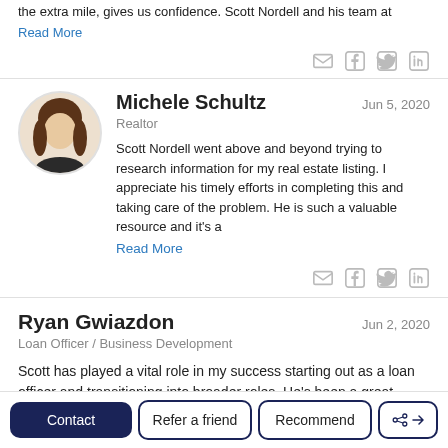the extra mile, gives us confidence. Scott Nordell and his team at
Read More
Michele Schultz
Realtor
Jun 5, 2020
Scott Nordell went above and beyond trying to research information for my real estate listing. I appreciate his timely efforts in completing this and taking care of the problem. He is such a valuable resource and it's a
Read More
Ryan Gwiazdon
Loan Officer / Business Development
Jun 2, 2020
Scott has played a vital role in my success starting out as a loan officer and transitioning into broader roles. He's been a great resource from the day we met, and is always willing to help. You won't get more effort from anyone else!